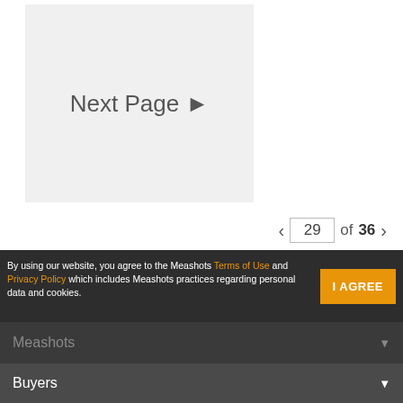[Figure (screenshot): A light grey card/button area with the text 'Next Page ▶' centered inside it, indicating navigation to the next page of content.]
29 of 36
By using our website, you agree to the Meashots Terms of Use and Privacy Policy which includes Meashots practices regarding personal data and cookies.
I AGREE
Meashots
Buyers